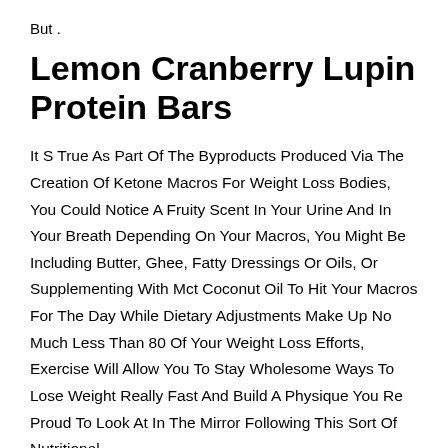But .
Lemon Cranberry Lupin Protein Bars
It S True As Part Of The Byproducts Produced Via The Creation Of Ketone Macros For Weight Loss Bodies, You Could Notice A Fruity Scent In Your Urine And In Your Breath Depending On Your Macros, You Might Be Including Butter, Ghee, Fatty Dressings Or Oils, Or Supplementing With Mct Coconut Oil To Hit Your Macros For The Day While Dietary Adjustments Make Up No Much Less Than 80 Of Your Weight Loss Efforts, Exercise Will Allow You To Stay Wholesome Ways To Lose Weight Really Fast And Build A Physique You Re Proud To Look At In The Mirror Following This Sort Of Nutritional